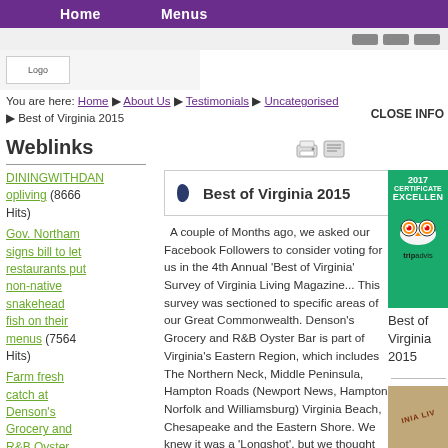Home   Menus
[Figure (logo): Website logo image placeholder]
You are here: Home ▶ About Us ▶ Testimonials ▶ Uncategorised ▶ Best of Virginia 2015
CLOSE INFO
Weblinks
DININGWITHDAN...opliving (8666 Hits)
Gov. Northam signs bill to let restaurants put non-native snakehead fish on their menus (7564 Hits)
Farm fresh catch at Denson's Grocery and R&B Oyster Bar (10358 Hits)
Rappahannock
Best of Virginia 2015
A couple of Months ago, we asked our Facebook Followers to consider voting for us in the 4th Annual 'Best of Virginia' Survey of Virginia Living Magazine... This survey was sectioned to specific areas of our Great Commonwealth. Denson's Grocery and R&B Oyster Bar is part of Virginia's Eastern Region, which includes The Northern Neck, Middle Peninsula, Hampton Roads (Newport News, Hampton, Norfolk and Williamsburg) Virginia Beach, Chesapeake and the Eastern Shore. We knew it was a 'Longshot', but we thought we would...
[Figure (logo): TripAdvisor 2017 Certificate of Excellence badge]
Best of Virginia 2015
[Figure (logo): Virginia Living Magazine badge/seal]